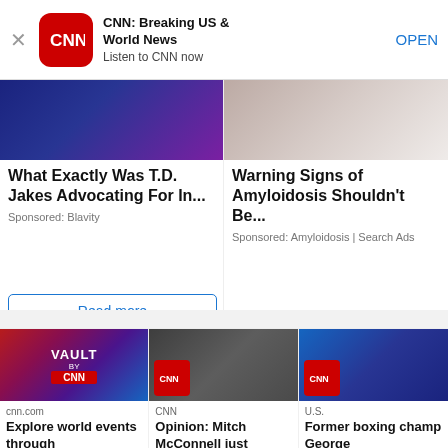[Figure (screenshot): CNN app banner with red rounded-square logo, title 'CNN: Breaking US & World News', subtitle 'Listen to CNN now', and OPEN button]
What Exactly Was T.D. Jakes Advocating For In...
Sponsored: Blavity
Read more
Warning Signs of Amyloidosis Shouldn't Be...
Sponsored: Amyloidosis | Search Ads
[Figure (screenshot): Thumbnail showing Vault by CNN logo on dark background]
cnn.com
Explore world events through
[Figure (screenshot): Thumbnail showing man in suit with CNN badge overlay]
CNN
Opinion: Mitch McConnell just
[Figure (screenshot): Thumbnail showing man in suit with CNN badge overlay]
U.S.
Former boxing champ George